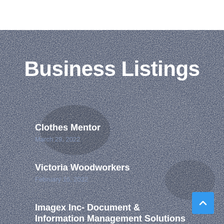Business Listings
Clothes Mentor
March 29, 2022
Victoria Woodworkers
February 16, 2022
Imagex Inc- Document & Information Management Solutions
February 03, 2022